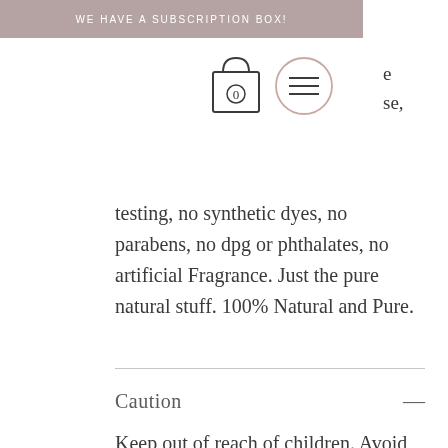WE HAVE A SUBSCRIPTION BOX!
[Figure (illustration): Shopping bag icon (outline, with 0 inside) and a menu/hamburger circle icon (outline), plus partial text 'e' and 'se,' visible at right edge]
testing, no synthetic dyes, no parabens, no dpg or phthalates, no artificial Fragrance. Just the pure natural stuff. 100% Natural and Pure.
Caution
Keep out of reach of children. Avoid contact with eyes. If you're having a sensitive skin then, try it on the small area of forearm before applying to other areas and wait for